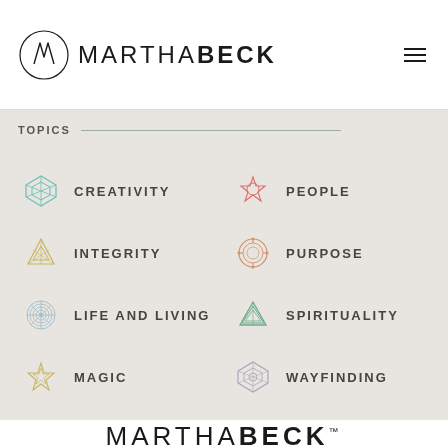MARTHABECK
TOPICS
CREATIVITY
PEOPLE
INTEGRITY
PURPOSE
LIFE AND LIVING
SPIRITUALITY
MAGIC
WAYFINDING
ALL ARCHIVES
[Figure (logo): Martha Beck circular logo mark with stylized M inside a circle, with MARTHABECK brand name and TM mark]